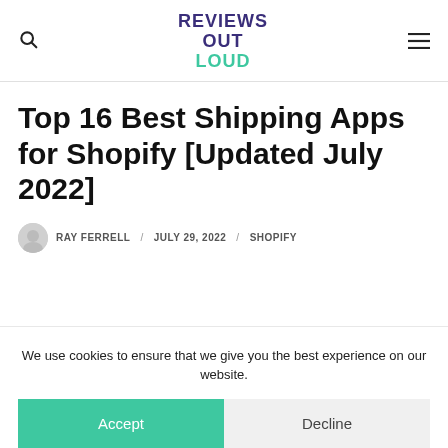REVIEWS OUT LOUD
Top 16 Best Shipping Apps for Shopify [Updated July 2022]
RAY FERRELL / JULY 29, 2022 / SHOPIFY
We use cookies to ensure that we give you the best experience on our website.